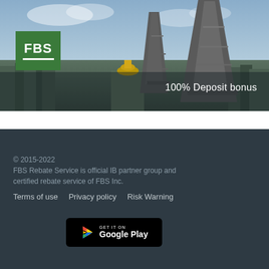[Figure (illustration): FBS broker banner showing Paris skyline with Eiffel Tower, FBS green logo in top left, text '100% Deposit bonus' in bottom right]
© 2015-2022
FBS Rebate Service is official IB partner group and certified rebate service of FBS Inc.
Terms of use    Privacy policy    Risk Warning
[Figure (logo): GET IT ON Google Play badge]